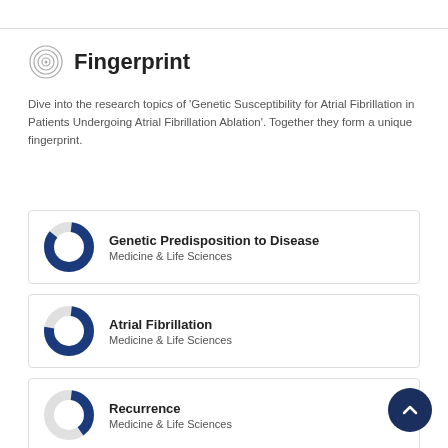Fingerprint
Dive into the research topics of 'Genetic Susceptibility for Atrial Fibrillation in Patients Undergoing Atrial Fibrillation Ablation'. Together they form a unique fingerprint.
Genetic Predisposition to Disease — Medicine & Life Sciences
Atrial Fibrillation — Medicine & Life Sciences
Recurrence — Medicine & Life Sciences
Cardiac Arrhythmias — Medicine & Life Sciences